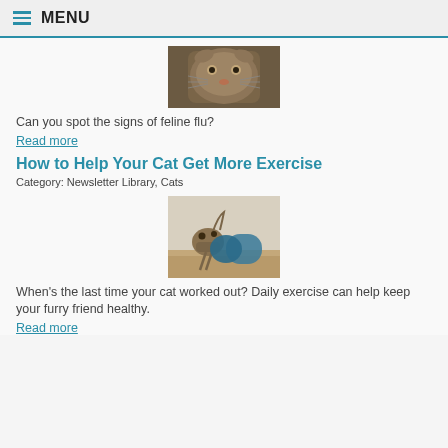MENU
[Figure (photo): Close-up photo of a fluffy cat face looking at camera (feline flu article image)]
Can you spot the signs of feline flu?
Read more
How to Help Your Cat Get More Exercise
Category: Newsletter Library, Cats
[Figure (photo): Photo of a cat playing with a tunnel toy on a wooden floor]
When's the last time your cat worked out? Daily exercise can help keep your furry friend healthy.
Read more